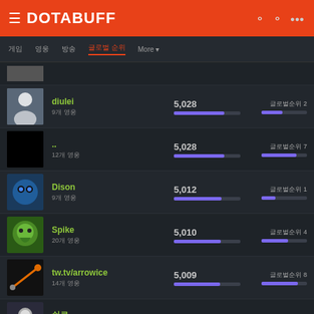DOTABUFF
게임  영웅  방송  글로벌 순위  More
| Player | Score | Rank |
| --- | --- | --- |
| diulei / 9개 영웅 | 5,028 | 글로벌순위 2 |
| .. / 12개 영웅 | 5,028 | 글로벌순위 7 |
| Dison / 9개 영웅 | 5,012 | 글로벌순위 1 |
| Spike / 20개 영웅 | 5,010 | 글로벌순위 4 |
| tw.tv/arrowice / 14개 영웅 | 5,009 | 글로벌순위 8 |
| 쉬로 / 18개 영웅 | 5,006 | 글로벌순위 4 |
| Tom 쉬로 / 쉬로 영웅 | 5,003 | 글로벌순위 9 |
| NO ONE (Mode: NOOB) / 2개 영웅 | 5,002 | 글로벌순위 9 |